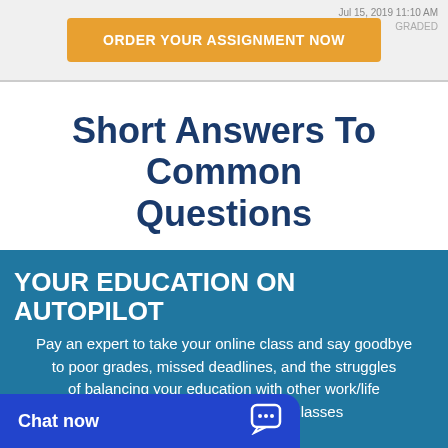Jul 15, 2019 11:10 AM
GRADED
[Figure (infographic): Orange button with text ORDER YOUR ASSIGNMENT NOW]
Short Answers To Common Questions
[ultimate-faqs]
YOUR EDUCATION ON AUTOPILOT
Pay an expert to take your online class and say goodbye to poor grades, missed deadlines, and the struggles of balancing your education with other work/life to Spend on Classes
[Figure (infographic): Blue chat bar with Chat now text and chat bubble icon]